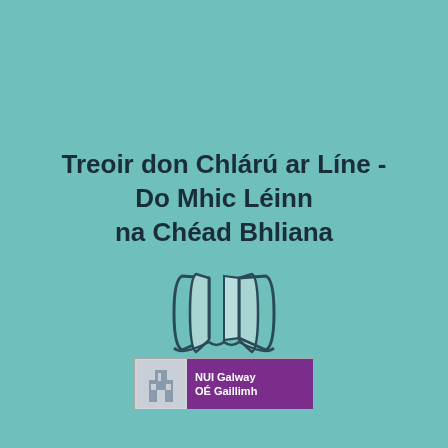Treoir don Chlárú ar Líne - Do Mhic Léinn na Chéad Bhliana
[Figure (illustration): Open book / map icon with folded pages, rendered as a dark teal outline on teal background]
[Figure (logo): NUI Galway / OÉ Gaillimh institutional logo with building image on left and purple background with white text on right]